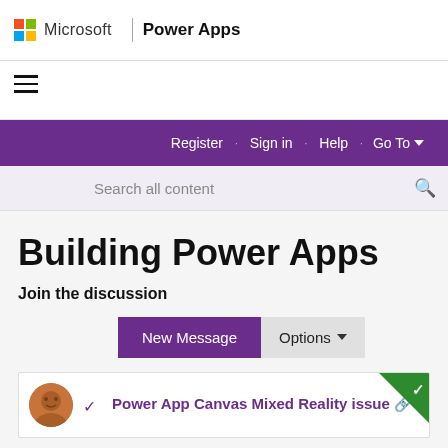Microsoft | Power Apps
[Figure (screenshot): Microsoft logo with four colored squares (red, green, blue, yellow)]
Building Power Apps
Join the discussion
New Message   Options
Power App Canvas Mixed Reality issue